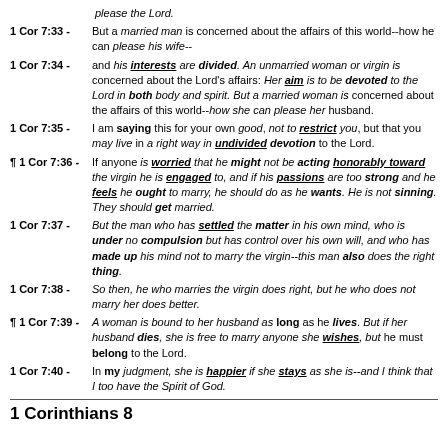please the Lord.
1 Cor 7:33 - But a married man is concerned about the affairs of this world--how he can please his wife--
1 Cor 7:34 - and his interests are divided. An unmarried woman or virgin is concerned about the Lord's affairs: Her aim is to be devoted to the Lord in both body and spirit. But a married woman is concerned about the affairs of this world--how she can please her husband.
1 Cor 7:35 - I am saying this for your own good, not to restrict you, but that you may live in a right way in undivided devotion to the Lord.
¶ 1 Cor 7:36 - If anyone is worried that he might not be acting honorably toward the virgin he is engaged to, and if his passions are too strong and he feels he ought to marry, he should do as he wants. He is not sinning. They should get married.
1 Cor 7:37 - But the man who has settled the matter in his own mind, who is under no compulsion but has control over his own will, and who has made up his mind not to marry the virgin--this man also does the right thing.
1 Cor 7:38 - So then, he who marries the virgin does right, but he who does not marry her does better.
¶ 1 Cor 7:39 - A woman is bound to her husband as long as he lives. But if her husband dies, she is free to marry anyone she wishes, but he must belong to the Lord.
1 Cor 7:40 - In my judgment, she is happier if she stays as she is--and I think that I too have the Spirit of God.
1 Corinthians 8